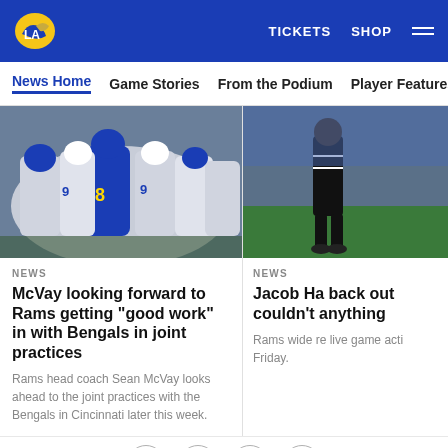LA Rams — TICKETS  SHOP  ≡
News Home  Game Stories  From the Podium  Player Features
[Figure (photo): Rams players huddled together in practice jerseys]
NEWS
McVay looking forward to Rams getting "good work" in with Bengals in joint practices
Rams head coach Sean McVay looks ahead to the joint practices with the Bengals in Cincinnati later this week.
[Figure (photo): Person standing on a football field, partially cropped]
NEWS
Jacob Ha back out couldn't anything
Rams wide re live game acti Friday.